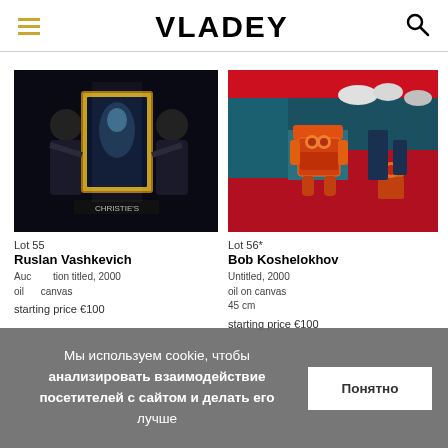VLADEY
[Figure (photo): Two people in dark clothing holding a gold-framed painting at a Christie's auction house, dark background]
[Figure (photo): Colorful painting of robot-like figures on red and teal background, by Bob Koshelokhov]
Lot 55
Ruslan Vashkevich
Auction titled, 2000 oil canvas
starting price €100
Lot 56*
Bob Koshelokhov
Untitled, 2000 oil on canvas 45 cm
starting price €100
Мы используем cookie, чтобы анализировать взаимодействие посетителей с сайтом и делать его лучше